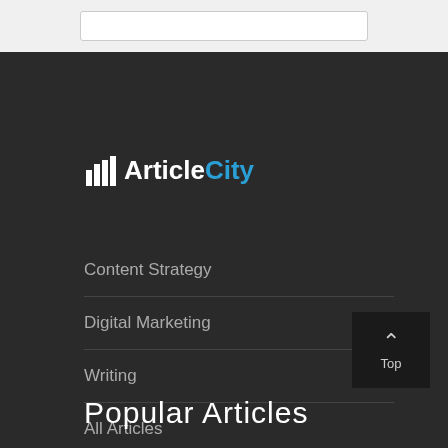[Figure (other): Search bar input field at top of page]
[Figure (logo): ArticleCity logo with building icon, 'Article' in white and 'City' in blue]
Content Strategy
Digital Marketing
Writing
All Articles
Popular Articles